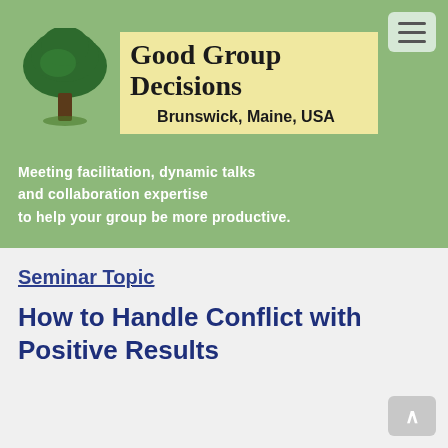[Figure (logo): Good Group Decisions website header with tree logo, brand name, location, and tagline on green background]
Seminar Topic
How to Handle Conflict with Positive Results